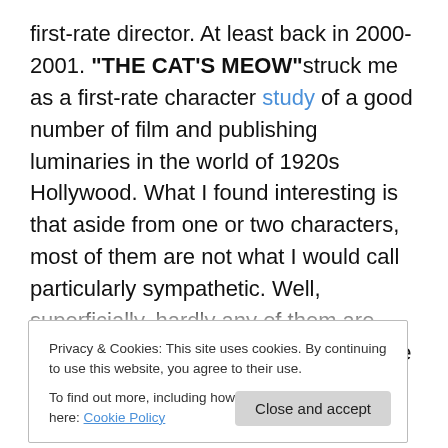first-rate director. At least back in 2000-2001. "THE CAT'S MEOW" struck me as a first-rate character study of a good number of film and publishing luminaries in the world of 1920s Hollywood. What I found interesting is that aside from one or two characters, most of them are not what I would call particularly sympathetic. Well, superficially, hardly any of them are sympathetic – including the very likable Marion Davies, who was not only Hearst's official mistress, but who was doing a piss-poor job of hiding her attraction for Charlie Chaplin. But despite the lack of superficial charm, the movie managed to reveal the...
Privacy & Cookies: This site uses cookies. By continuing to use this website, you agree to their use. To find out more, including how to control cookies, see here: Cookie Policy
revealed as interesting and complex characters. The most